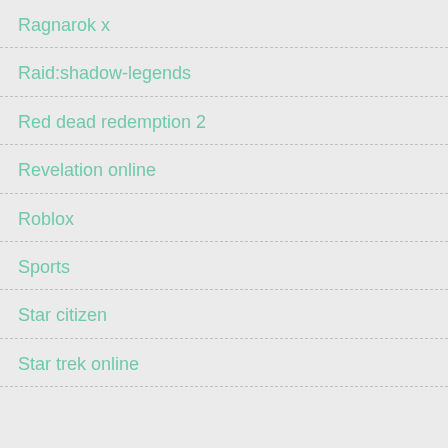Ragnarok x
Raid:shadow-legends
Red dead redemption 2
Revelation online
Roblox
Sports
Star citizen
Star trek online